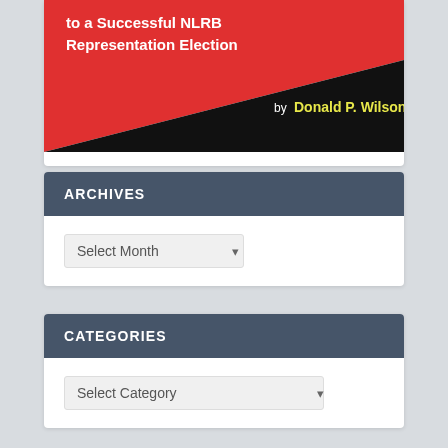[Figure (illustration): Book cover showing diagonal red and black sections with white text reading 'to a Successful NLRB Representation Election' and yellow bold text 'by Donald P. Wilson']
ARCHIVES
Select Month
CATEGORIES
Select Category